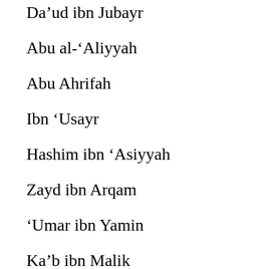Da’ud ibn Jubayr
Abu al-‘Aliyyah
Abu Ahrifah
Ibn ‘Usayr
Hashim ibn ‘Asiyyah
Zayd ibn Arqam
‘Umar ibn Yamin
Ka’b ibn Malik